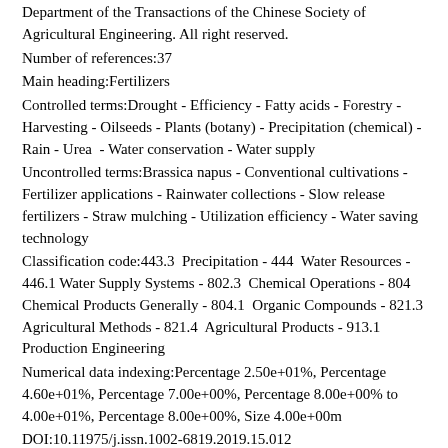Department of the Transactions of the Chinese Society of Agricultural Engineering. All right reserved.
Number of references:37
Main heading:Fertilizers
Controlled terms:Drought - Efficiency - Fatty acids - Forestry - Harvesting - Oilseeds - Plants (botany) - Precipitation (chemical) - Rain - Urea  - Water conservation - Water supply
Uncontrolled terms:Brassica napus - Conventional cultivations - Fertilizer applications - Rainwater collections - Slow release fertilizers - Straw mulching - Utilization efficiency - Water saving technology
Classification code:443.3  Precipitation - 444  Water Resources - 446.1 Water Supply Systems - 802.3  Chemical Operations - 804  Chemical Products Generally - 804.1  Organic Compounds - 821.3  Agricultural Methods - 821.4  Agricultural Products - 913.1  Production Engineering
Numerical data indexing:Percentage 2.50e+01%, Percentage 4.60e+01%, Percentage 7.00e+00%, Percentage 8.00e+00% to 4.00e+01%, Percentage 8.00e+00%, Size 4.00e+00m
DOI:10.11975/j.issn.1002-6819.2019.15.012
Database:Compendex